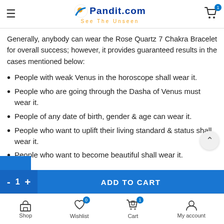Pandit.com — See The Unseen
Generally, anybody can wear the Rose Quartz 7 Chakra Bracelet for overall success; however, it provides guaranteed results in the cases mentioned below:
People with weak Venus in the horoscope shall wear it.
People who are going through the Dasha of Venus must wear it.
People of any date of birth, gender & age can wear it.
People who want to uplift their living standard & status shall wear it.
People who want to become beautiful shall wear it.
Shop  Wishlist 0  Cart 1  My account